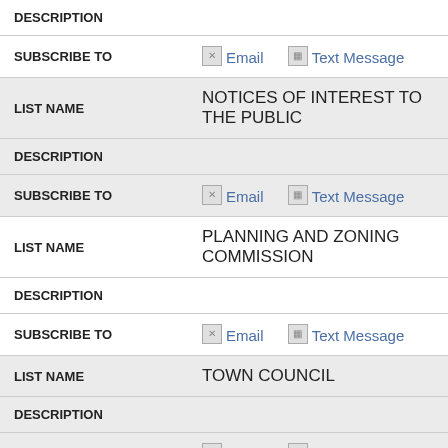| FIELD | VALUE |
| --- | --- |
| DESCRIPTION |  |
| SUBSCRIBE TO | Email   Text Message |
| LIST NAME | NOTICES OF INTEREST TO THE PUBLIC |
| DESCRIPTION |  |
| SUBSCRIBE TO | Email   Text Message |
| LIST NAME | PLANNING AND ZONING COMMISSION |
| DESCRIPTION |  |
| SUBSCRIBE TO | Email   Text Message |
| LIST NAME | TOWN COUNCIL |
| DESCRIPTION |  |
| SUBSCRIBE TO | Email   Text Message |